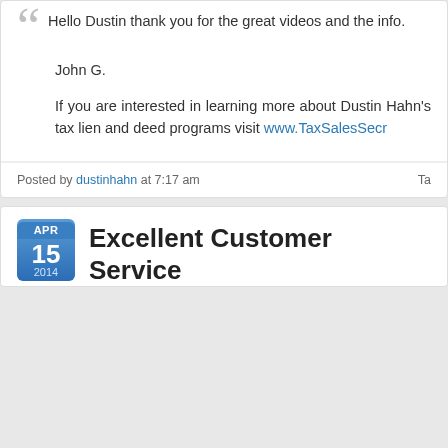Hello Dustin thank you for the great videos and the info.
John G.
If you are interested in learning more about Dustin Hahn's tax lien and deed programs visit www.TaxSalesSecr...
Posted by dustinhahn at 7:17 am
Excellent Customer Service